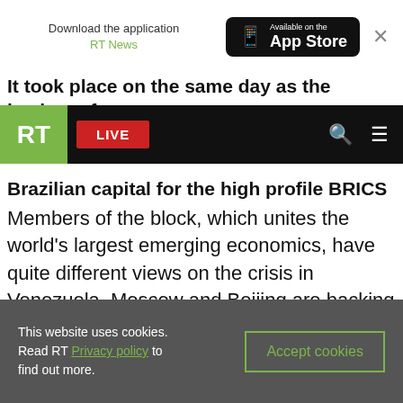Download the application RT News — Available on the App Store
It took place on the same day as the leaders of
Brazilian capital for the high profile BRICS summit. Members of the block, which unites the world's largest emerging economics, have quite different views on the crisis in Venezuela. Moscow and Beijing are backing Maduro as the democratically-elected president, while Brazil's Jair Bolsonaro said he recognized Guaido as Venezuelan leader.
This website uses cookies. Read RT Privacy policy to find out more. Accept cookies